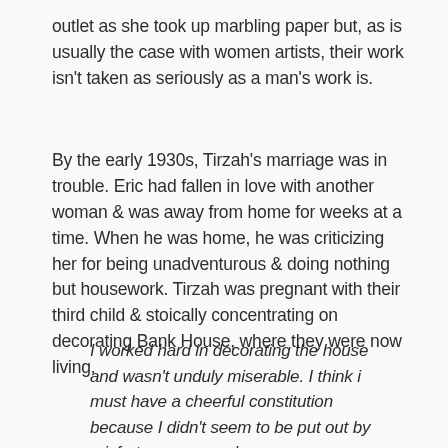outlet as she took up marbling paper but, as is usually the case with women artists, their work isn't taken as seriously as a man's work is.
By the early 1930s, Tirzah's marriage was in trouble. Eric had fallen in love with another woman & was away from home for weeks at a time. When he was home, he was criticizing her for being unadventurous & doing nothing but housework. Tirzah was pregnant with their third child & stoically concentrating on decorating Bank House, where they were now living.
I worked hard in decorating the house and wasn't unduly miserable. I think i must have a cheerful constitution because I didn't seem to be put out by misfortunes as much as